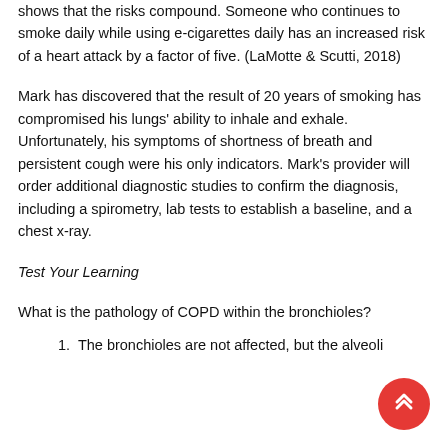shows that the risks compound. Someone who continues to smoke daily while using e-cigarettes daily has an increased risk of a heart attack by a factor of five. (LaMotte & Scutti, 2018)
Mark has discovered that the result of 20 years of smoking has compromised his lungs' ability to inhale and exhale. Unfortunately, his symptoms of shortness of breath and persistent cough were his only indicators. Mark's provider will order additional diagnostic studies to confirm the diagnosis, including a spirometry, lab tests to establish a baseline, and a chest x-ray.
Test Your Learning
What is the pathology of COPD within the bronchioles?
1. The bronchioles are not affected, but the alveoli